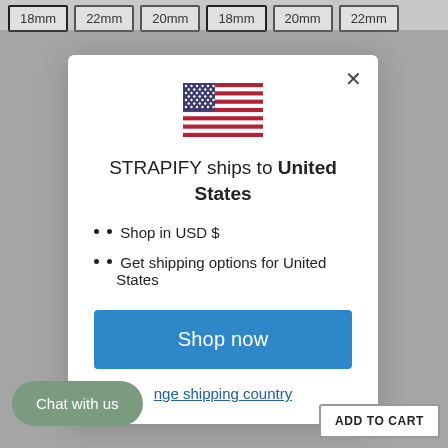18mm  22mm  20mm  18mm  20mm  22mm
[Figure (screenshot): US flag emoji / icon centered in modal]
STRAPIFY ships to United States
Shop in USD $
Get shipping options for United States
Shop now
Change shipping country
Chat with us
ADD TO CART